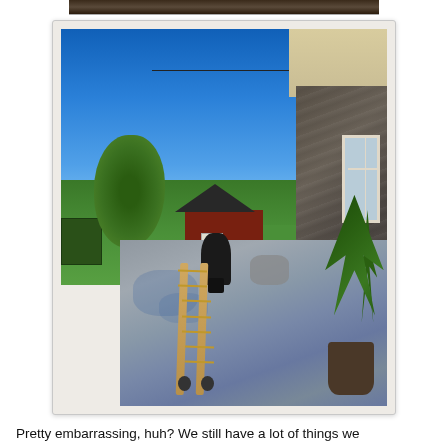[Figure (photo): Partial view of the top of a previous photo showing a dark/blurred scene at the very top of the page.]
[Figure (photo): Outdoor photo of a residential backyard patio/side yard. Shows a concrete patio with a ladder lying on it, a potted palm plant on the right, a gas grill in the middle distance, a brick shed/outbuilding in the background left-center, a large tree on the left, green lawn, and the stone/rock exterior wall of a house on the right with white trim and a window. Blue sky with a power line overhead.]
Pretty embarrassing, huh? We still have a lot of things we